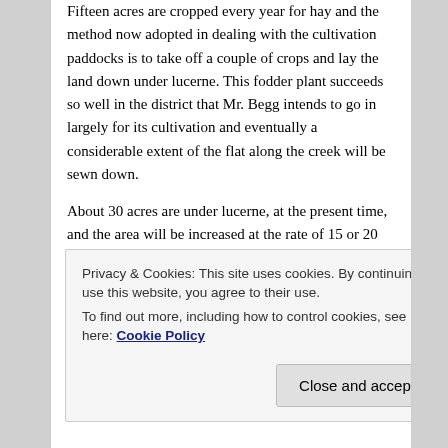Fifteen acres are cropped every year for hay and the method now adopted in dealing with the cultivation paddocks is to take off a couple of crops and lay the land down under lucerne. This fodder plant succeeds so well in the district that Mr. Begg intends to go in largely for its cultivation and eventually a considerable extent of the flat along the creek will be sewn down.
About 30 acres are under lucerne, at the present time, and the area will be increased at the rate of 15 or 20 acres per annum. The land is prepared by being ploughed, harrowed twice, rolled, and the seed sown at the rate of 12 lb. per acre, a fine light harrowing being given as a covering. The sowing is generally done in August, and the following autumn the lucerne fields are
Privacy & Cookies: This site uses cookies. By continuing to use this website, you agree to their use.
To find out more, including how to control cookies, see here: Cookie Policy